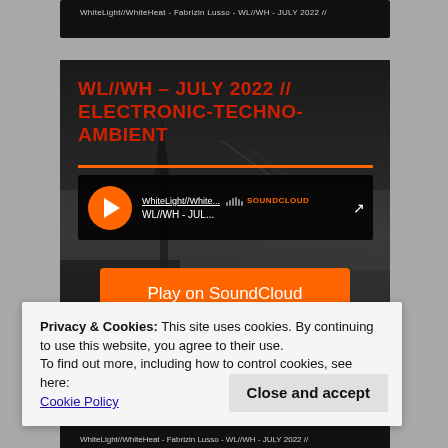WhiteLight//WhiteHeat - Fabrizin Lusso - WL//WH - JULY 2022 //
[Figure (screenshot): SoundCloud embedded music player widget showing 'WL//WH – JULY 2022 // ELECTRONIC-TECHNO-AMBIENT' with a play button, orange separator line, SoundCloud branding, and a 'Play on SoundCloud' orange button. Background shows a dark misty landscape.]
Privacy & Cookies: This site uses cookies. By continuing to use this website, you agree to their use.
To find out more, including how to control cookies, see here:
Cookie Policy
Close and accept
WhiteLight//WhiteHeat - Fabrizin Lusso - WL//WH - JULY 2022 //